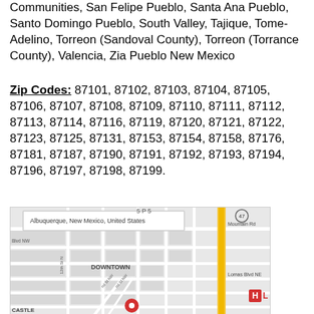Communities, San Felipe Pueblo, Santa Ana Pueblo, Santo Domingo Pueblo, South Valley, Tajique, Tome-Adelino, Torreon (Sandoval County), Torreon (Torrance County), Valencia, Zia Pueblo New Mexico
Zip Codes: 87101, 87102, 87103, 87104, 87105, 87106, 87107, 87108, 87109, 87110, 87111, 87112, 87113, 87114, 87116, 87119, 87120, 87121, 87122, 87123, 87125, 87131, 87153, 87154, 87158, 87176, 87181, 87187, 87190, 87191, 87192, 87193, 87194, 87196, 87197, 87198, 87199.
[Figure (map): Google Maps screenshot showing Albuquerque, New Mexico, United States. The map shows the downtown area with streets including Mountain Rd, Lomas Blvd NE, 12th St N, Blvd NW. A location pin (red circle with dot) is visible near downtown, and a hospital marker (H) is shown in the upper right area. A yellow highlighted road runs vertically on the right side. Route 47 marker is visible in the upper right.]